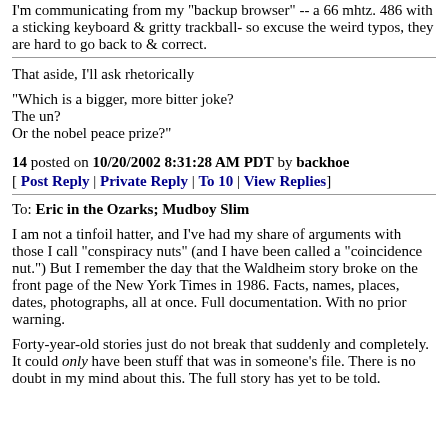I'm communicating from my "backup browser" -- a 66 mhtz. 486 with a sticking keyboard & gritty trackball- so excuse the weird typos, they are hard to go back to & correct.
That aside, I'll ask rhetorically
"Which is a bigger, more bitter joke?
The un?
Or the nobel peace prize?"
14 posted on 10/20/2002 8:31:28 AM PDT by backhoe
[ Post Reply | Private Reply | To 10 | View Replies]
To: Eric in the Ozarks; Mudboy Slim
I am not a tinfoil hatter, and I've had my share of arguments with those I call "conspiracy nuts" (and I have been called a "coincidence nut.") But I remember the day that the Waldheim story broke on the front page of the New York Times in 1986. Facts, names, places, dates, photographs, all at once. Full documentation. With no prior warning.
Forty-year-old stories just do not break that suddenly and completely. It could only have been stuff that was in someone's file. There is no doubt in my mind about this. The full story has yet to be told.